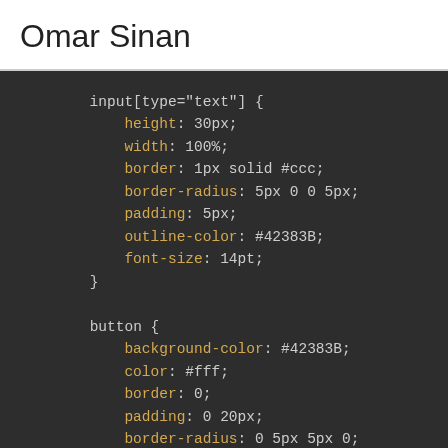Omar Sinan
[Figure (screenshot): Dark-themed code editor screenshot showing CSS code for input[type='text'] and button selectors with properties including height, width, border, border-radius, padding, outline-color, font-size, background-color, color, border, padding, and border-radius.]